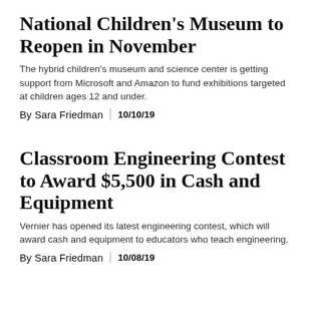National Children's Museum to Reopen in November
The hybrid children's museum and science center is getting support from Microsoft and Amazon to fund exhibitions targeted at children ages 12 and under.
By Sara Friedman | 10/10/19
Classroom Engineering Contest to Award $5,500 in Cash and Equipment
Vernier has opened its latest engineering contest, which will award cash and equipment to educators who teach engineering.
By Sara Friedman | 10/08/19